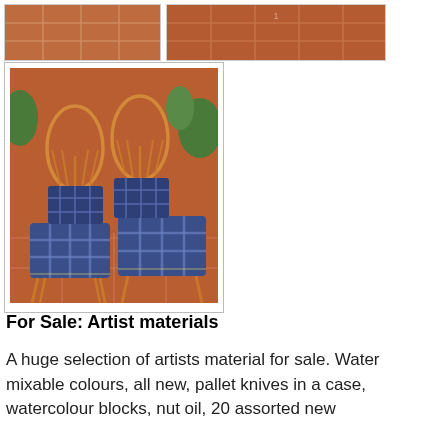[Figure (photo): Two photos of terracotta tiled floor/patio seen from above, shown side by side at top of page]
[Figure (photo): Photo of four rattan/bamboo chairs with blue and white plaid/tartan cushion seats, arranged on a terracotta tiled patio with potted plants in the background]
For Sale: Artist materials
A huge selection of artists material for sale. Water mixable colours, all new, pallet knives in a case, watercolour blocks, nut oil, 20 assorted new